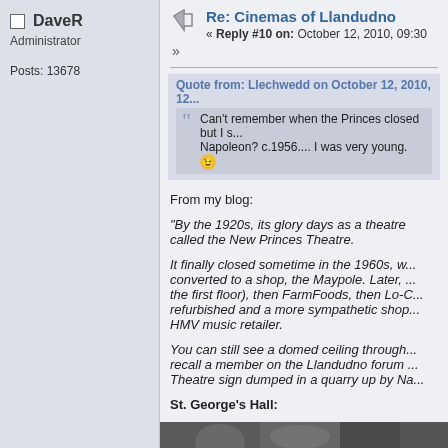DaveR
Administrator
Posts: 13678
Re: Cinemas of Llandudno
« Reply #10 on: October 12, 2010, 09:30 »
Quote from: Llechwedd on October 12, 2010, 12...
Can't remember when the Princes closed but I s... Napoleon?  c.1956.... I was very young. 🙂
From my blog:
"By the 1920s, its glory days as a theatre called the New Princes Theatre.
It finally closed sometime in the 1960s, w... converted to a shop, the Maypole. Later, ... the first floor), then FarmFoods, then Lo-C... refurbished and a more sympathetic shop... HMV music retailer.
You can still see a domed ceiling through... recall a member on the Llandudno forum ... Theatre sign dumped in a quarry up by Na...
St. George's Hall:
[Figure (photo): Black and white photograph, partially visible at bottom of page]